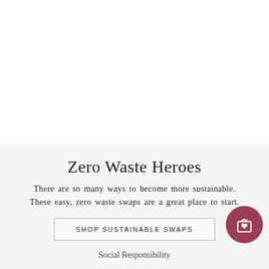Zero Waste Heroes
There are so many ways to become more sustainable. These easy, zero waste swaps are a great place to start.
SHOP SUSTAINABLE SWAPS
[Figure (illustration): Circular dark rose/mauve button with a shopping bag icon featuring a small heart, positioned to the right of the shop button]
Social Responsibility